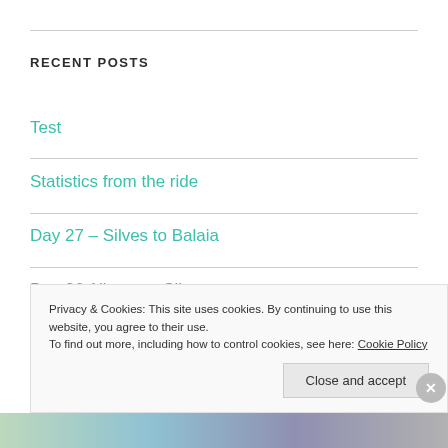RECENT POSTS
Test
Statistics from the ride
Day 27 – Silves to Balaia
Day 26 Aljezur to Silves
Privacy & Cookies: This site uses cookies. By continuing to use this website, you agree to their use.
To find out more, including how to control cookies, see here: Cookie Policy
Close and accept